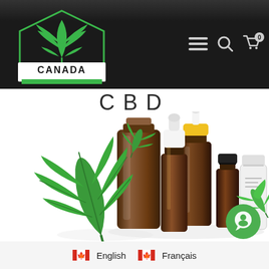[Figure (logo): Canada Cannabis Dispensary logo - green cannabis leaf with hexagonal border above white banner reading CANADA CANNABIS DISPENSARY]
[Figure (screenshot): Website header with navigation icons: hamburger menu, search, and shopping cart with 0 items on dark background]
CBD
[Figure (photo): CBD product photo showing cannabis leaf with multiple amber dropper bottles and white container on white background]
[Figure (other): Green chat/messaging button icon in bottom right corner]
English
Français